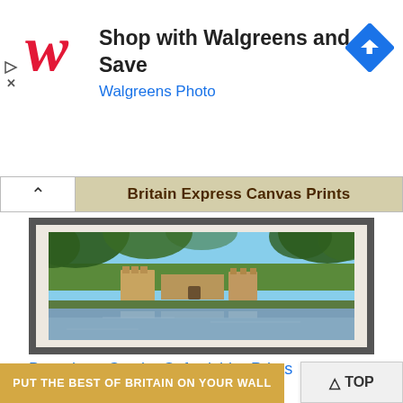[Figure (illustration): Walgreens advertisement banner with red cursive W logo, text 'Shop with Walgreens and Save' and 'Walgreens Photo', and a blue diamond-shaped directions icon on the right.]
Britain Express Canvas Prints
[Figure (photo): Framed canvas print showing Broughton Castle, Oxfordshire — a medieval castle reflected in a moat, surrounded by green trees, photographed under a blue sky.]
Broughton Castle, Oxfordshire Prints
PUT THE BEST OF BRITAIN ON YOUR WALL
TOP